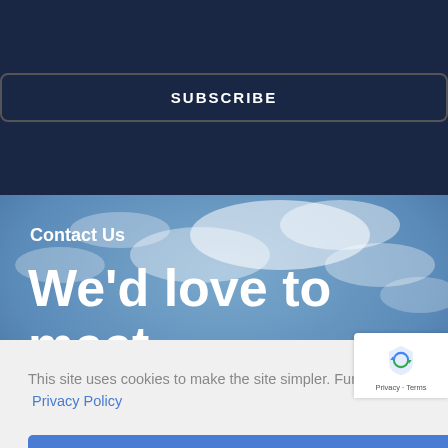SUBSCRIBE
Contact Us
We'd love to meet you
This site uses cookies to make the site simpler. Further information is provided in our  Privacy Policy
Accept
[Figure (logo): reCAPTCHA logo with shield icon]
Privacy · Terms